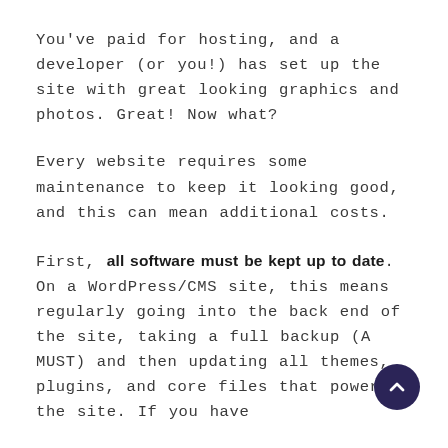You've paid for hosting, and a developer (or you!) has set up the site with great looking graphics and photos. Great! Now what?
Every website requires some maintenance to keep it looking good, and this can mean additional costs.
First, all software must be kept up to date. On a WordPress/CMS site, this means regularly going into the back end of the site, taking a full backup (A MUST) and then updating all themes, plugins, and core files that power the site. If you have